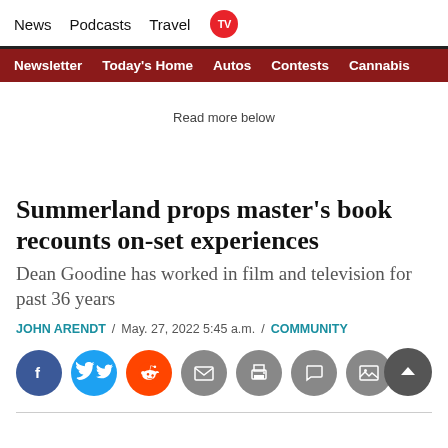News  Podcasts  Travel  TV
Newsletter  Today's Home  Autos  Contests  Cannabis
Read more below
Summerland props master's book recounts on-set experiences
Dean Goodine has worked in film and television for past 36 years
JOHN ARENDT / May. 27, 2022 5:45 a.m. / COMMUNITY